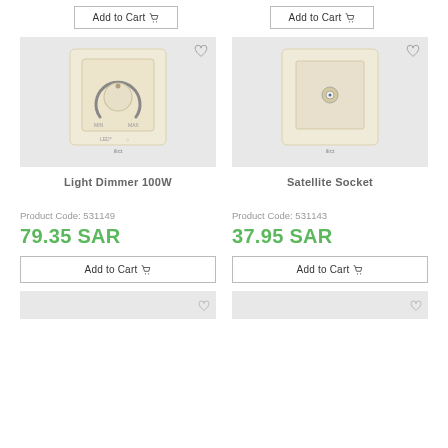[Figure (screenshot): Top Add to Cart buttons for two products above the fold]
[Figure (photo): Light Dimmer 100W product image - cream colored rotary dimmer switch]
Light Dimmer 100W
Product Code: 531149
79.35 SAR
Add to Cart
[Figure (photo): Satellite Socket product image - cream colored wall socket with coaxial connector]
Satellite Socket
Product Code: 531143
37.95 SAR
Add to Cart
[Figure (photo): Partial view of third product card at bottom left]
[Figure (photo): Partial view of fourth product card at bottom right]